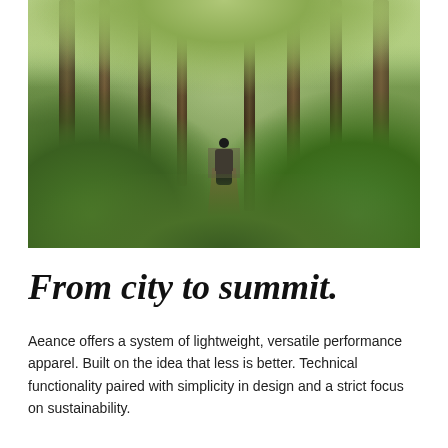[Figure (photo): A person in dark clothing walking through a lush green forest with tall trees and dense ferns, viewed from behind on a narrow trail]
From city to summit.
Aeance offers a system of lightweight, versatile performance apparel. Built on the idea that less is better. Technical functionality paired with simplicity in design and a strict focus on sustainability.